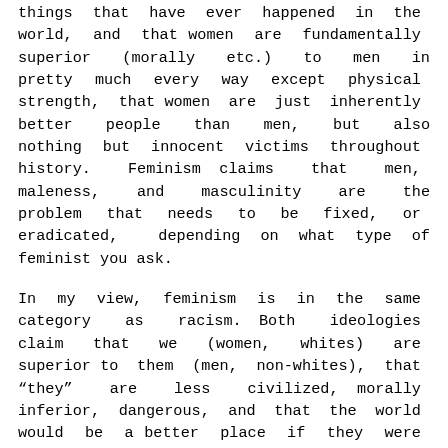things that have ever happened in the world, and that women are fundamentally superior (morally etc.) to men in pretty much every way except physical strength, that women are just inherently better people than men, but also nothing but innocent victims throughout history. Feminism claims that men, maleness, and masculinity are the problem that needs to be fixed, or eradicated, depending on what type of feminist you ask.
In my view, feminism is in the same category as racism. Both ideologies claim that we (women, whites) are superior to them (men, non-whites), that “they” are less civilized, morally inferior, dangerous, and that the world would be a better place if they were more like us, or just gone altogether.
Of course, most people who call themselves feminists would not say that women are really better people than men. It’s all about equality, isn’t it? But it’s not called “equalism”. How can there be a desire for equality and mutual respect in a world view in which men are seen as dangerous predators, as oppressors, and women as nice, beautiful, innocent victims? And the victims always...